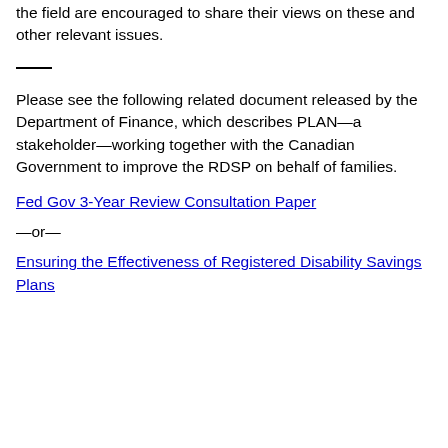the field are encouraged to share their views on these and other relevant issues.
Please see the following related document released by the Department of Finance, which describes PLAN—a stakeholder—working together with the Canadian Government to improve the RDSP on behalf of families.
Fed Gov 3-Year Review Consultation Paper
—or—
Ensuring the Effectiveness of Registered Disability Savings Plans